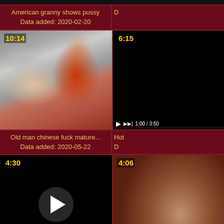[Figure (screenshot): Top strip — partially visible video thumbnails row]
American granny shows pussy
Data added: 2020-02-20
D
[Figure (screenshot): Video thumbnail 10:14 — old man and woman in red]
[Figure (screenshot): Video thumbnail 6:15 — black screen with video player controls, 1:00 / 3:50]
Old man chinese fuck mature...
Data added: 2020-05-22
Hot
D
[Figure (screenshot): Video thumbnail 4:30 — black screen with play button]
[Figure (screenshot): Video thumbnail 4:06 — woman with hair]